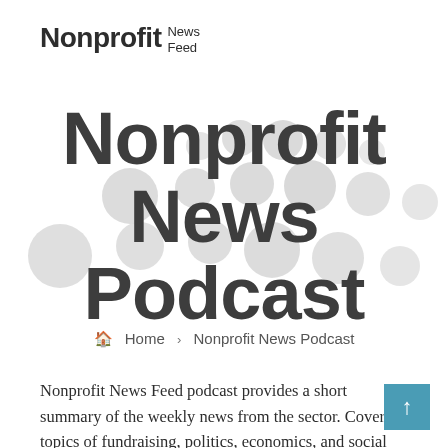Nonprofit News Feed
Nonprofit News Podcast
🏠  Home  >  Nonprofit News Podcast
Nonprofit News Feed podcast provides a short summary of the weekly news from the sector. Covering topics of fundraising, politics, economics, and social issues that impact the world of charities, an industry that employs 10% of the United States labor force.